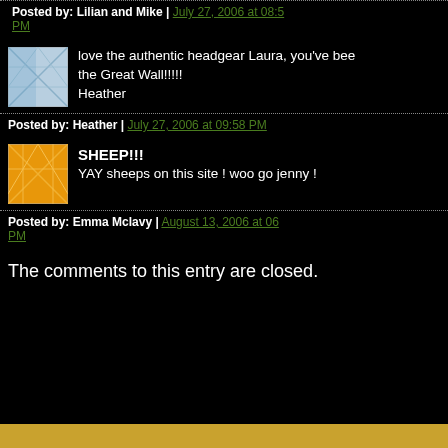Posted by: Lilian and Mike | July 27, 2006 at 08:59 PM
love the authentic headgear Laura, you've been on the Great Wall!!!!! Heather
Posted by: Heather | July 27, 2006 at 09:58 PM
SHEEP!!! YAY sheeps on this site ! woo go jenny !
Posted by: Emma Mclavy | August 13, 2006 at 06: PM
The comments to this entry are closed.